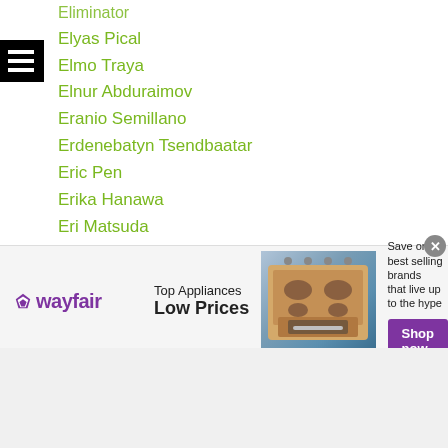Eliminator
Elyas Pical
Elmo Traya
Elnur Abduraimov
Eranio Semillano
Erdenebatyn Tsendbaatar
Eric Pen
Erika Hanawa
Eri Matsuda
Erkhembayar Batbayar
Ernesto Saulong
Ernie Sanchez
Eruka Hiromoto
Esneth Domingo
ESPN
[Figure (infographic): Wayfair advertisement banner promoting Top Appliances at Low Prices with a stove image and Shop now button]